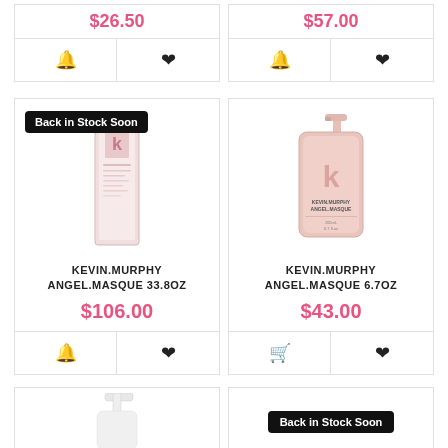$26.50 (partial price, top-left card)
$57.00 (partial price, top-right card)
[Figure (photo): Kevin Murphy Angel.Masque 33.8oz product bottle (tall flat box)]
Back in Stock Soon (badge on left product)
KEVIN.MURPHY ANGEL.MASQUE 33.8oz
$106.00
[Figure (photo): Kevin Murphy Angel.Masque 6.7oz pump bottle product]
KEVIN.MURPHY ANGEL.MASQUE 6.7oz
$43.00
[Figure (photo): Partial product image bottom-left (white pump bottle)]
Back in Stock Soon (badge, bottom-right card)